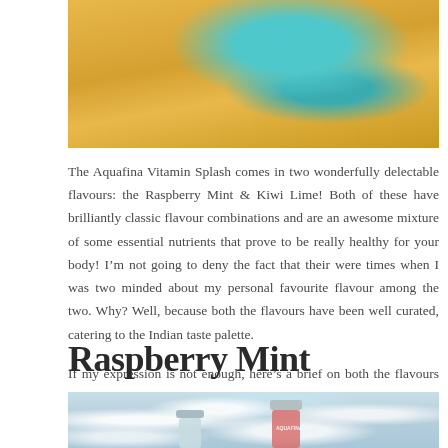[Figure (photo): Beach scene with yellow/golden sand and a teal/turquoise colored item (possibly a bag or accessory) visible, top portion cropped]
The Aquafina Vitamin Splash comes in two wonderfully delectable flavours: the Raspberry Mint & Kiwi Lime! Both of these have brilliantly classic flavour combinations and are an awesome mixture of some essential nutrients that prove to be really healthy for your body! I'm not going to deny the fact that their were times when I was two minded about my personal favourite flavour among the two. Why? Well, because both the flavours have been well curated, catering to the Indian taste palette.
If my expression is not enough, here's a brief on both the flavours and what you can expect upon consumption :
Raspberry Mint
[Figure (photo): Two small Aquafina Vitamin Splash bottles against a blurry bokeh light background — one with a grey cap (left) and one pink/raspberry coloured bottle with the Aquafina label visible (right)]